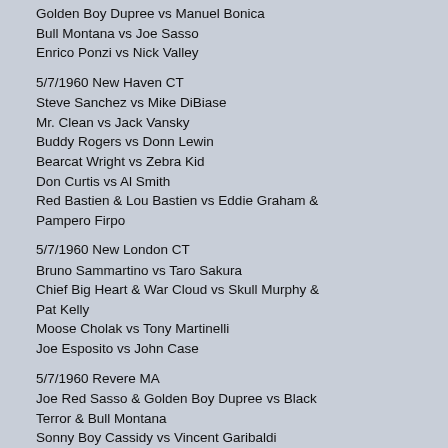Golden Boy Dupree vs Manuel Bonica
Bull Montana vs Joe Sasso
Enrico Ponzi vs Nick Valley
5/7/1960 New Haven CT
Steve Sanchez vs Mike DiBiase
Mr. Clean vs Jack Vansky
Buddy Rogers vs Donn Lewin
Bearcat Wright vs Zebra Kid
Don Curtis vs Al Smith
Red Bastien & Lou Bastien vs Eddie Graham & Pampero Firpo
5/7/1960 New London CT
Bruno Sammartino vs Taro Sakura
Chief Big Heart & War Cloud vs Skull Murphy & Pat Kelly
Moose Cholak vs Tony Martinelli
Joe Esposito vs John Case
5/7/1960 Revere MA
Joe Red Sasso & Golden Boy Dupree vs Black Terror & Bull Montana
Sonny Boy Cassidy vs Vincent Garibaldi
5/11/1960 Bridgeport CT
Bruno Sammartino beat Pat Kelly
Buddy Rogers beat Chief Sunni War Cloud
Wildman Firpo beat Johnny Walker
Bearcat Wright beat Swede Hanson & Tony Altimore
Sweet Daddy Siki beat Taro Sakura
Prince Maiva beat Zebra Kid
5/11/1960 Holyoke MA
Joe Red Sasso & Golden Boy Dupree beat Bull Montana & White Terror
Mona Baker beat Bambi Ball